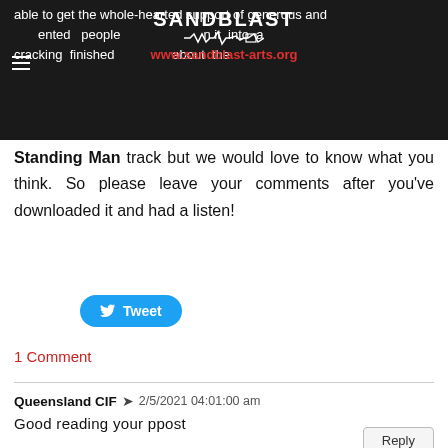able to get the whole-hearted support of generous and talented people who helped turn it into a cracking finished product. Anyway about the Standing Man track but we would love to know what you think. So please leave your comments after you've downloaded it and had a listen!
Standing Man track but we would love to know what you think. So please leave your comments after you've downloaded it and had a listen!
Tweet
1 Comment
Queensland CIF  2/5/2021 04:01:00 am
Good reading your ppost
Reply